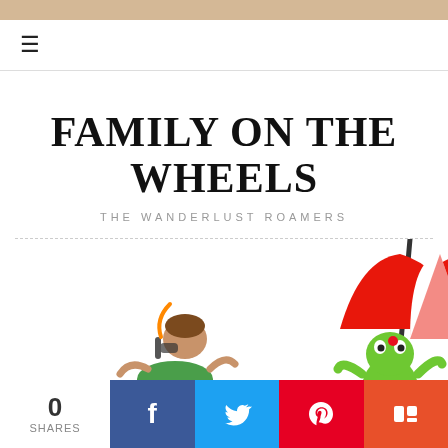FAMILY ON THE WHEELS
THE WANDERLUST ROAMERS
[Figure (illustration): Cartoon illustration of a person snorkeling at the beach with a red and white beach umbrella and a green cartoon frog character]
0 SHARES | Facebook | Twitter | Pinterest | Mix